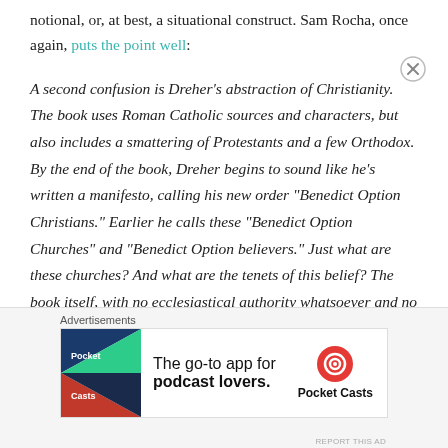notional, or, at best, a situational construct. Sam Rocha, once again, puts the point well:
A second confusion is Dreher’s abstraction of Christianity. The book uses Roman Catholic sources and characters, but also includes a smattering of Protestants and a few Orthodox. By the end of the book, Dreher begins to sound like he’s written a manifesto, calling his new order “Benedict Option Christians.” Earlier he calls these “Benedict Option Churches” and “Benedict Option believers.” Just what are these churches? And what are the tenets of this belief? The book itself, with no ecclesiastical authority whatsoever and no scholarly credibility to speak of? This is tremendously
[Figure (infographic): Advertisement banner for Pocket Casts app: 'The go-to app for podcast lovers.' with Pocket Casts logo]